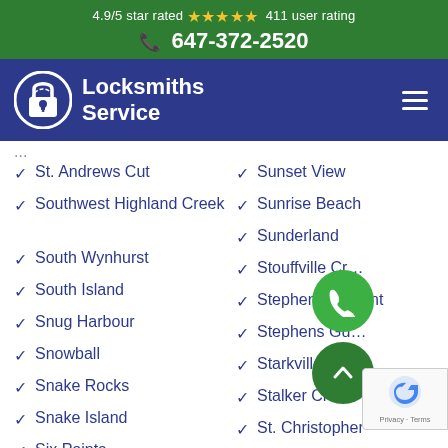4.9/5 star rated ★★★★★ 411 user rating
☎ 647-372-2520
[Figure (logo): Locksmiths Service logo with padlock icon on blue navigation bar]
St. Andrews Cut
Southwest Highland Creek
South Wynhurst
South Island
Snug Harbour
Snowball
Snake Rocks
Snake Island
Six Points
Simeon Lake
Sunset View
Sunrise Beach
Sunderland
Stouffville Cr...
Stephenson Point
Stephens Gu...
Starkville
Stalker Creek
St. Christopher
Squires Beach
Spring Creek